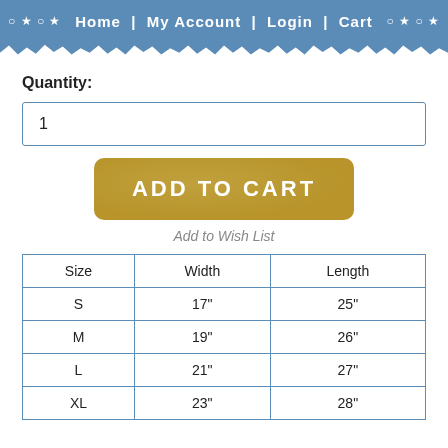○ ★ ○ ★  Home | My Account | Login | Cart  ○ ★ ○ ★
Quantity:
1
ADD TO CART
Add to Wish List
| Size | Width | Length |
| --- | --- | --- |
| S | 17" | 25" |
| M | 19" | 26" |
| L | 21" | 27" |
| XL | 23" | 28" |